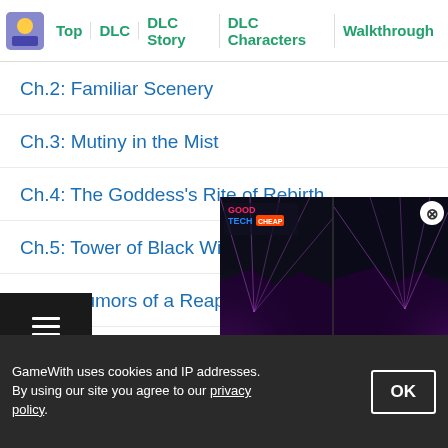Top | DLC | DLC Story | DLC Characters | Walkthrough
Ch.2: Familiar Scenery
Ch.3: Mutiny in the Mist
Ch.4: The Goddess's Rite of Rebirth
Ch.5: Tower of Black Winds
Ch.6: Rumors of a Reaper
Ch.7: Field of the Eagle and Lion
Ch.8: The Flame in the Darkness
Ch.9: The Cause of Sorrow
Ch.10: Where the Goddess Dwe...
[Figure (screenshot): GoodTech promotional video thumbnail showing glowing purple light rays on dark background, displayed as floating ad overlay]
GameWith uses cookies and IP addresses. By using our site you agree to our privacy policy.